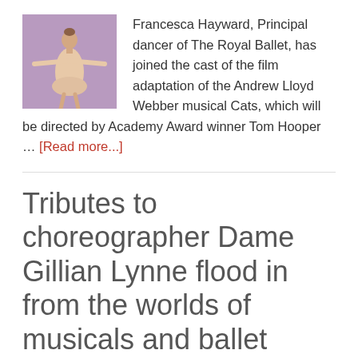[Figure (photo): A dancer in a pink/nude dress with arms outstretched, posed against a purple background. Represents Francesca Hayward, Principal dancer of The Royal Ballet.]
Francesca Hayward, Principal dancer of The Royal Ballet, has joined the cast of the film adaptation of the Andrew Lloyd Webber musical Cats, which will be directed by Academy Award winner Tom Hooper … [Read more...]
Tributes to choreographer Dame Gillian Lynne flood in from the worlds of musicals and ballet
8 July 2018 by